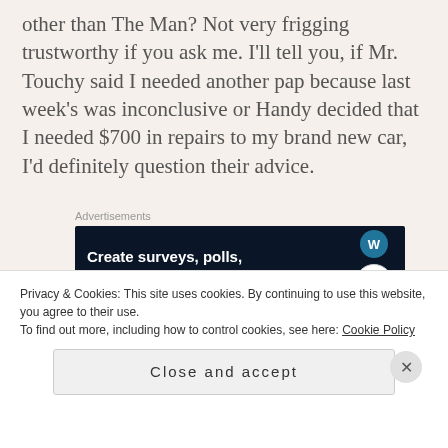other than The Man? Not very frigging trustworthy if you ask me. I'll tell you, if Mr. Touchy said I needed another pap because last week's was inconclusive or Handy decided that I needed $700 in repairs to my brand new car, I'd definitely question their advice.
Advertisements
[Figure (other): Advertisement banner with dark navy background reading 'Create surveys, polls, quizzes, and forms.' with WordPress and CrowdSignal logos on the right.]
So perhaps these examples are like comparing
Privacy & Cookies: This site uses cookies. By continuing to use this website, you agree to their use.
To find out more, including how to control cookies, see here: Cookie Policy
Close and accept